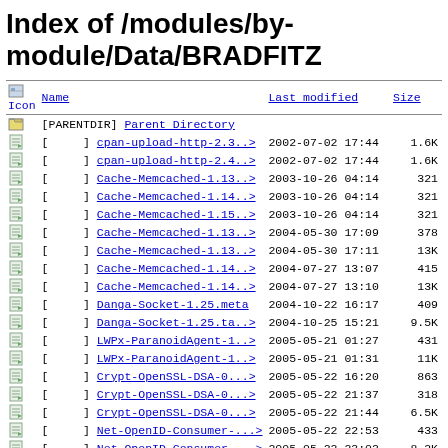Index of /modules/by-module/Data/BRADFITZ
| Icon | Name | Last modified | Size |
| --- | --- | --- | --- |
| [PARENTDIR] | Parent Directory |  |  |
| [ ] | cpan-upload-http-2.3..> | 2002-07-02 17:44 | 1.6K |
| [ ] | cpan-upload-http-2.4..> | 2002-07-02 17:44 | 1.6K |
| [ ] | Cache-Memcached-1.13..> | 2003-10-26 04:14 | 321 |
| [ ] | Cache-Memcached-1.14..> | 2003-10-26 04:14 | 321 |
| [ ] | Cache-Memcached-1.15..> | 2003-10-26 04:14 | 321 |
| [ ] | Cache-Memcached-1.13..> | 2004-05-30 17:09 | 378 |
| [ ] | Cache-Memcached-1.13..> | 2004-05-30 17:11 | 13K |
| [ ] | Cache-Memcached-1.14..> | 2004-07-27 13:07 | 415 |
| [ ] | Cache-Memcached-1.14..> | 2004-07-27 13:10 | 13K |
| [ ] | Danga-Socket-1.25.meta | 2004-10-22 16:17 | 409 |
| [ ] | Danga-Socket-1.25.ta..> | 2004-10-25 15:21 | 9.5K |
| [ ] | LWPx-ParanoidAgent-1..> | 2005-05-21 01:27 | 431 |
| [ ] | LWPx-ParanoidAgent-1..> | 2005-05-21 01:31 | 11K |
| [ ] | Crypt-OpenSSL-DSA-0...> | 2005-05-22 16:20 | 863 |
| [ ] | Crypt-OpenSSL-DSA-0...> | 2005-05-22 21:37 | 318 |
| [ ] | Crypt-OpenSSL-DSA-0...> | 2005-05-22 21:44 | 6.5K |
| [ ] | Net-OpenID-Consumer-...> | 2005-05-22 22:53 | 433 |
| [ ] | Net-OpenID-Consumer-...> | 2005-05-22 23:02 | 8.2K |
| [ ] | Net-OpenID-Consumer-...> | 2005-05-23 03:44 | 433 |